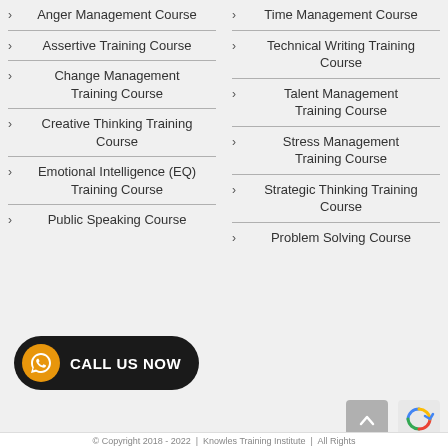Anger Management Course
Assertive Training Course
Change Management Training Course
Creative Thinking Training Course
Emotional Intelligence (EQ) Training Course
Public Speaking Course
Time Management Course
Technical Writing Training Course
Talent Management Training Course
Stress Management Training Course
Strategic Thinking Training Course
Problem Solving Course
© Copyright 2018 - 2022 | Knowles Training Institute | All Rights